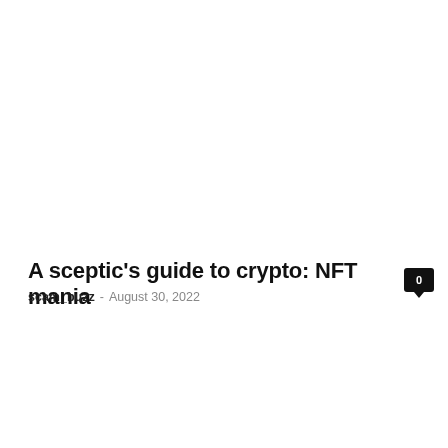A sceptic's guide to crypto: NFT mania
scam_buzz - August 30, 2022